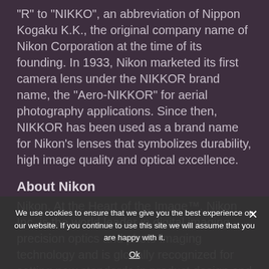"R" to "NIKKO", an abbreviation of Nippon Kogaku K.K., the original company name of Nikon Corporation at the time of its founding. In 1933, Nikon marketed its first camera lens under the NIKKOR brand name, the "Aero-NIKKOR" for aerial photography applications. Since then, NIKKOR has been used as a brand name for Nikon's lenses that symbolizes durability, high image quality and optical excellence.
About Nikon
Nikon, At the Heart of the Image™. Nikon Inc. is the world leader in digital imaging, precision optics and photo imaging technology and is globally recognized for setting new standards in product design and performance for its award-winning consumer and professional photographic equipment. Nikon Inc. distributes consumer and professional digital SLR cameras, NIKKOR optics, Speedlights and system accessories, Nikon COOLPIX® compact digital cameras;
We use cookies to ensure that we give you the best experience on our website. If you continue to use this site we will assume that you are happy with it.